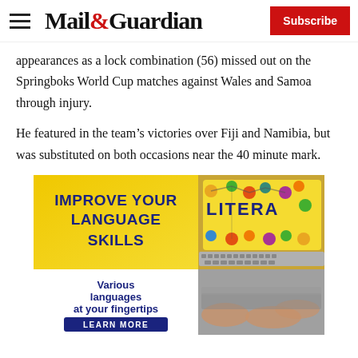Mail&Guardian | Subscribe
appearances as a lock combination (56) missed out on the Springboks World Cup matches against Wales and Samoa through injury.
He featured in the team's victories over Fiji and Namibia, but was substituted on both occasions near the 40 minute mark.
[Figure (infographic): Advertisement banner: 'IMPROVE YOUR LANGUAGE SKILLS' in bold blue text on yellow background, with laptop image showing 'LITERA...' on screen, subtext 'Various languages at your fingertips' and a 'LEARN MORE' button in blue.]